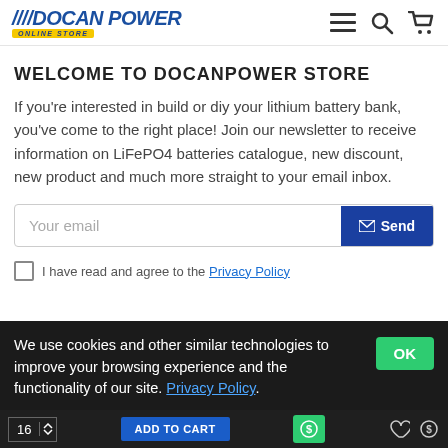DOCAN POWER ONLINE STORE
WELCOME TO DOCANPOWER STORE
If you're interested in build or diy your lithium battery bank, you've come to the right place! Join our newsletter to receive information on LiFePO4 batteries catalogue, new discount, new product and much more straight to your email inbox.
Your email [input field] Send button
I have read and agree to the Privacy Policy
We use cookies and other similar technologies to improve your browsing experience and the functionality of our site. Privacy Policy.